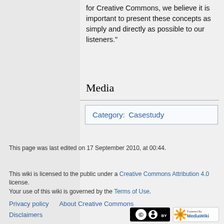for Creative Commons, we believe it is important to present these concepts as simply and directly as possible to our listeners."
Media
| Category:  Casestudy |
| --- |
This page was last edited on 17 September 2010, at 00:44.
This wiki is licensed to the public under a Creative Commons Attribution 4.0 license.
Your use of this wiki is governed by the Terms of Use.
Privacy policy   About Creative Commons
Disclaimers